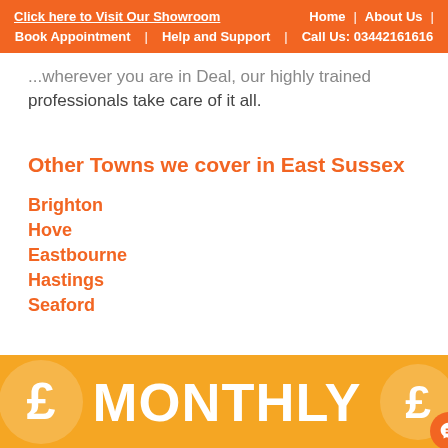Click here to Visit Our Showroom | Home | About Us | Book Appointment | Help and Support | Call Us: 03442161616
...wherever you are in Deal, our highly trained professionals take care of it all.
Other Towns we cover in East Sussex
Brighton
Hove
Eastbourne
Hastings
Seaford
[Figure (infographic): Yellow/gold banner with white pound sign circles on left and right, and large white bold text reading MONTHLY]